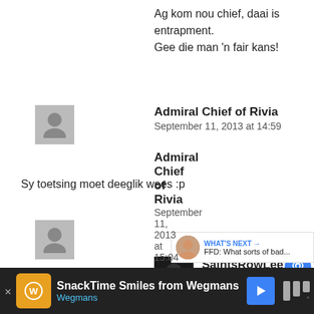Ag kom nou chief, daai is entrapment.
Gee die man 'n fair kans!
Admiral Chief of Rivia
September 11, 2013 at 14:59
Sy toetsing moet deeglik wees :p
SaintsRowLee
September 11, 2013 at 15:02
Nee man. Jy ruk nou die dam onde eend uit..
Admiral Chief of Rivia
September 11, 2013 at 15:04
WHAT'S NEXT → FFD: What sorts of bad...
SnackTime Smiles from Wegmans
Wegmans